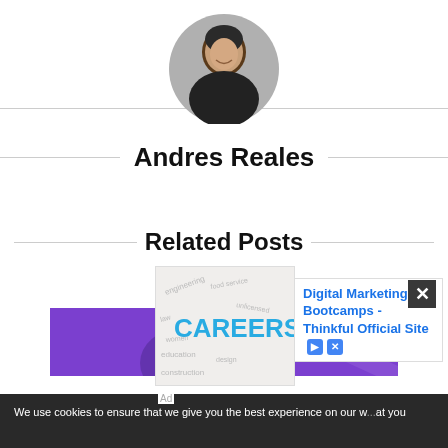[Figure (photo): Circular profile photo of a man with short dark hair wearing a dark shirt, smiling, with arms crossed]
Andres Reales
Related Posts
[Figure (photo): Purple banner image, partial view of a person in the background]
We use cookies to ensure that we give you the best experience on our w... at you
[Figure (infographic): Ad image: word cloud with CAREERS in blue letters, surrounded by words like engineering, food service, law, education, construction, design]
Digital Marketing Bootcamps - Thinkful Official Site
Ad